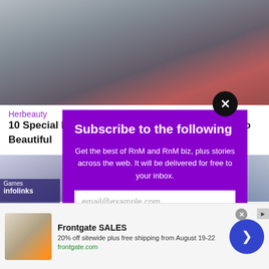[Figure (photo): Background webpage showing two women in floral clothing, partially obscured by modal overlay]
Herbeauty
10 Special B... men So Beautiful
[Figure (screenshot): Subscribe modal popup on purple background with close button, email input, and subscribe button]
Subscribe to the following
Get the best of RnM and RnM biz, plus stories across the web. It will be delivered for free to your inbox.
email@example.com
SUBSCRIBE
[Figure (screenshot): Ad banner: Frontgate SALES - 20% off sitewide plus free shipping from August 19-22, frontgate.com]
Frontgate SALES
20% off sitewide plus free shipping from August 19-22
frontgate.com